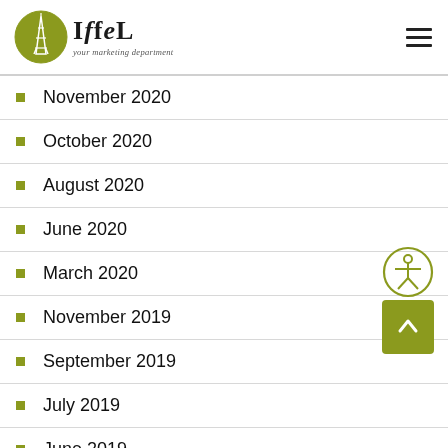IFFEL — your marketing department
November 2020
October 2020
August 2020
June 2020
March 2020
November 2019
September 2019
July 2019
June 2019